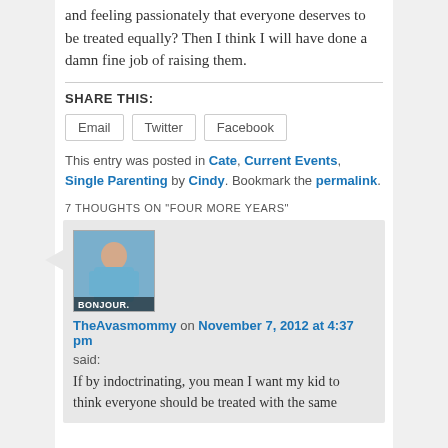and feeling passionately that everyone deserves to be treated equally? Then I think I will have done a damn fine job of raising them.
SHARE THIS:
Email  Twitter  Facebook
This entry was posted in Cate, Current Events, Single Parenting by Cindy. Bookmark the permalink.
7 THOUGHTS ON "FOUR MORE YEARS"
[Figure (photo): Avatar image with person wearing blue hoodie and text BONJOUR.]
TheAvasmommy on November 7, 2012 at 4:37 pm
said:
If by indoctrinating, you mean I want my kid to think everyone should be treated with the same...